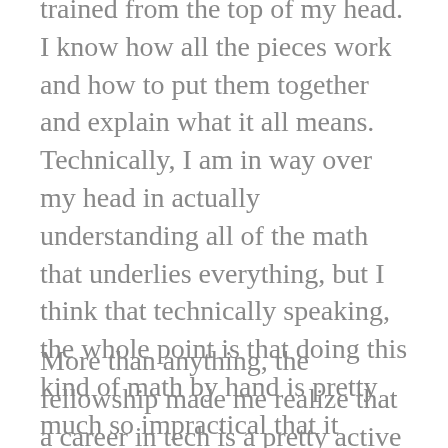rained from the top of my head. I know how all the pieces work and how to put them together and explain what it all means. Technically, I am in way over my head in actually understanding all of the math that underlies everything, but I think that technically speaking, the whole point is that doing this kind of math by hand is pretty much so impractical that it might as well be impossible. Could I tell you step by step what the DBScan algorithm is doing? No. Can I tell you what it starts with and what it gives you and the implications and assumptions that come along with it? Absolutely.
More than anything, the fellowship made me realize that a career in tech is a pretty active and engaged thing – you may end up with a job (in